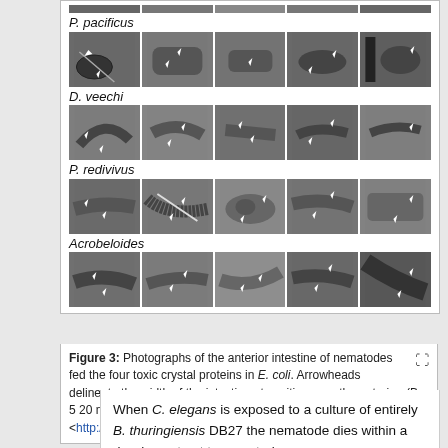[Figure (photo): Microscopy photographs of anterior intestine of nematodes (P. pacificus, D. veechi, P. redivivus, Acrobeloides) fed four toxic crystal proteins in E. coli. Arrowheads delineate intestine width near the anterior. Four rows of species, each with 5 panels.]
Figure 3: Photographs of the anterior intestine of nematodes fed the four toxic crystal proteins in E. coli. Arrowheads delineate the width of the intestine at position near the anterior. (Bar 5 20 mm.) <http://www.pnas.org/content/100/5/2760.long/>
When C. elegans is exposed to a culture of entirely B. thuringiensis DB27 the nematode dies within a day, in contrast to nematode